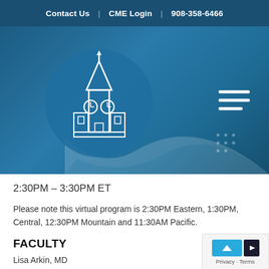Contact Us | CME Login | 908-358-6466
[Figure (screenshot): Hero banner with institution building/clock tower logo on dark blue background and hamburger menu icon]
2:30PM – 3:30PM ET
Please note this virtual program is 2:30PM Eastern, 1:30PM, Central, 12:30PM Mountain and 11:30AM Pacific.
FACULTY
Lisa Arkin, MD